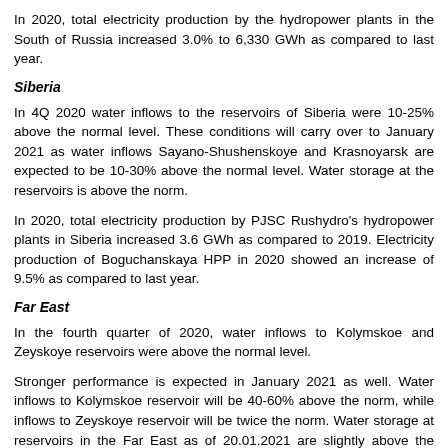In 2020, total electricity production by the hydropower plants in the South of Russia increased 3.0% to 6,330 GWh as compared to last year.
Siberia
In 4Q 2020 water inflows to the reservoirs of Siberia were 10-25% above the normal level. These conditions will carry over to January 2021 as water inflows Sayano-Shushenskoye and Krasnoyarsk are expected to be 10-30% above the normal level. Water storage at the reservoirs is above the norm.
In 2020, total electricity production by PJSC Rushydro's hydropower plants in Siberia increased 3.6 GWh as compared to 2019. Electricity production of Boguchanskaya HPP in 2020 showed an increase of 9.5% as compared to last year.
Far East
In the fourth quarter of 2020, water inflows to Kolymskoe and Zeyskoye reservoirs were above the normal level.
Stronger performance is expected in January 2021 as well. Water inflows to Kolymskoe reservoir will be 40-60% above the norm, while inflows to Zeyskoye reservoir will be twice the norm. Water storage at reservoirs in the Far East as of 20.01.2021 are slightly above the normal level.
Total electricity generated by hydropower plants in the Far East (not included in the RAO ES East) increased by 9.4% to 16,693 GWh against the same period last year.
Total electricity generated by RAO ES East subgroup in the fourth quarter of 2020 increased by 3.2% as compared to the fourth quarter of 2019. The main drivers behind the production increase were consumption in the region by 1.1% compounded by HPP production growth. JSC...